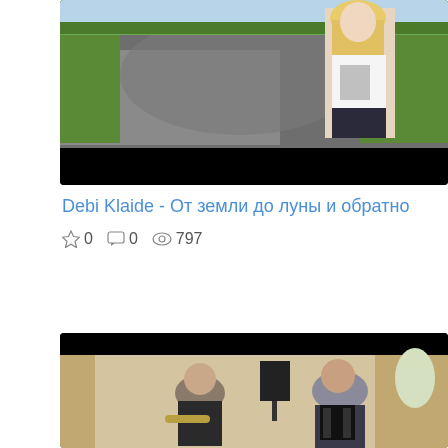[Figure (screenshot): Video thumbnail showing a blonde woman in a white t-shirt standing outdoors on a road with trees in background. Bottom black bar visible.]
Debi Klaide - От земли до луны и обратно
☆ 0  ☐ 0  👁 797
[Figure (screenshot): Video thumbnail showing musicians at an indoor event, one playing trumpet and one playing accordion, with draped curtains and speakers in background. Top black bar visible.]